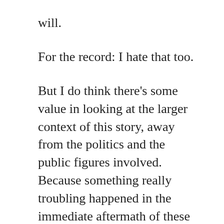will.
For the record: I hate that too.
But I do think there's some value in looking at the larger context of this story, away from the politics and the public figures involved. Because something really troubling happened in the immediate aftermath of these allegations.
On talk radio, on social media and across other media channels Friday, we saw an alleged victim roundly criticized for how she chose to respond. We heard a bunch of mostly male commenters and pundits play Monday